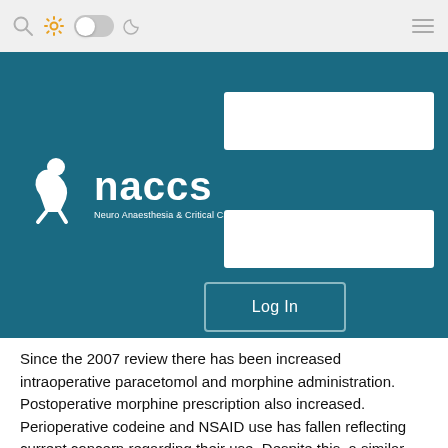[Figure (screenshot): Top navigation bar with search icon, gear icon, toggle switch, moon icon, and hamburger menu on gray background]
[Figure (logo): NACCS logo on teal/dark blue background with white stylized figure and text 'naccs Neuro Anaesthesia & Critical Care Society', with two white login input boxes and a Log In button]
Since the 2007 review there has been increased intraoperative paracetomol and morphine administration. Postoperative morphine prescription also increased. Perioperative codeine and NSAID use has fallen reflecting current concern regarding their use. Despite this, a similar percentage of patients reported pain in the recovery room in 2007 and 2013.